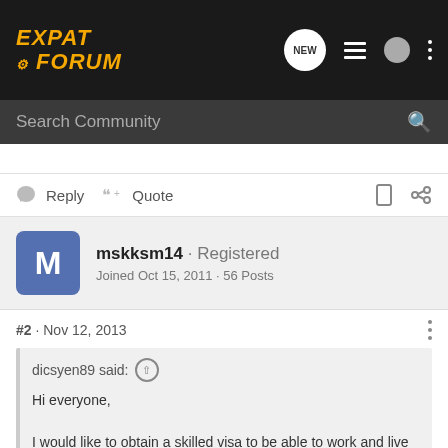EXPAT FORUM
Search Community
Reply  Quote
mskksm14 · Registered
Joined Oct 15, 2011 · 56 Posts
#2 · Nov 12, 2013
dicsyen89 said:
Hi everyone,

I would like to obtain a skilled visa to be able to work and live in Australia. Is it possible for anyone here to provide me with a certified and trustworthy migration office contact or web information in Kuala Lumpur?